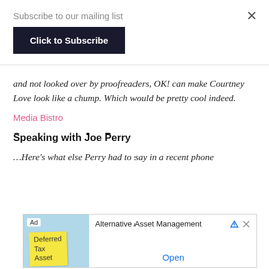Subscribe to our mailing list
Click to Subscribe
and not looked over by proofreaders, OK! can make Courtney Love look like a chump. Which would be pretty cool indeed.
Media Bistro
Speaking with Joe Perry
…Here's what else Perry had to say in a recent phone
[Figure (infographic): Advertisement banner showing 'Alternative Asset Management' with 'Open' link and an image of a sticky note reading 'Deferred Tax Asset']